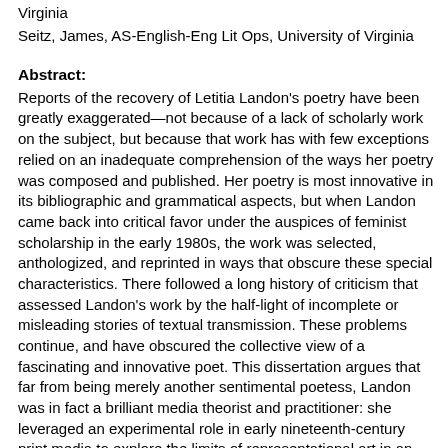Virginia
Seitz, James, AS-English-Eng Lit Ops, University of Virginia
Abstract:
Reports of the recovery of Letitia Landon's poetry have been greatly exaggerated—not because of a lack of scholarly work on the subject, but because that work has with few exceptions relied on an inadequate comprehension of the ways her poetry was composed and published. Her poetry is most innovative in its bibliographic and grammatical aspects, but when Landon came back into critical favor under the auspices of feminist scholarship in the early 1980s, the work was selected, anthologized, and reprinted in ways that obscure these special characteristics. There followed a long history of criticism that assessed Landon's work by the half-light of incomplete or misleading stories of textual transmission. These problems continue, and have obscured the collective view of a fascinating and innovative poet. This dissertation argues that far from being merely another sentimental poetess, Landon was in fact a brilliant media theorist and practitioner: she leveraged an experimental role in early nineteenth-century print media to explore the limits of representational art in an era of mass production.